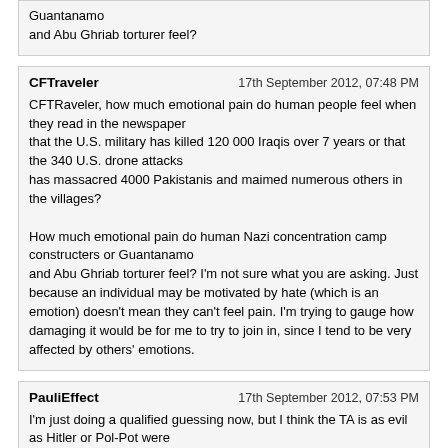Guantanamo
and Abu Ghriab torturer feel?
CFTraveler | 17th September 2012, 07:48 PM

CFTRaveler, how much emotional pain do human people feel when they read in the newspaper
that the U.S. military has killed 120 000 Iraqis over 7 years or that the 340 U.S. drone attacks
has massacred 4000 Pakistanis and maimed numerous others in the villages?

How much emotional pain do human Nazi concentration camp constructers or Guantanamo
and Abu Ghriab torturer feel? I'm not sure what you are asking. Just because an individual may be motivated by hate (which is an emotion) doesn't mean they can't feel pain. I'm trying to gauge how damaging it would be for me to try to join in, since I tend to be very affected by others' emotions.
PauliEffect | 17th September 2012, 07:53 PM

I'm just doing a qualified guessing now, but I think the TA is as evil as Hitler or Pol-Pot were
and the TA is certainly worse than for example the Syria dictator al-Assad.
IA56 | 17th September 2012, 08:18 PM

I have experienced how the collective pain felt what Hitler did put humans for....I will meditate and give my answere if I will join you to help them, okay.
CFTraveler | 17th September 2012, 11:59 PM

Ok. So I'm in. Tell me what to do.